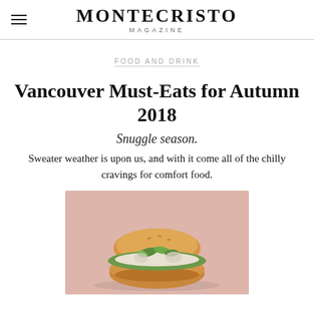MONTECRISTO MAGAZINE
FOOD AND DRINK
Vancouver Must-Eats for Autumn 2018
Snuggle season.
Sweater weather is upon us, and with it come all of the chilly cravings for comfort food.
[Figure (photo): A golden-brown sandwich bun filled with greens and toppings, photographed against a pink background]